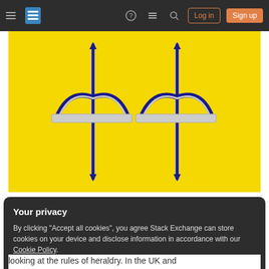Stack Exchange navigation bar with Log in and Sign up buttons
[Figure (illustration): Yellow background heraldry image showing two blue and silver crossed bows/crossbows on a bright yellow field]
Share    edited Feb 25, 2017 at 1:34
Improve this answer
Follow
Your privacy
By clicking "Accept all cookies", you agree Stack Exchange can store cookies on your device and disclose information in accordance with our Cookie Policy.
Accept all cookies   Customize settings
looking at the rules of heraldry. In the UK and